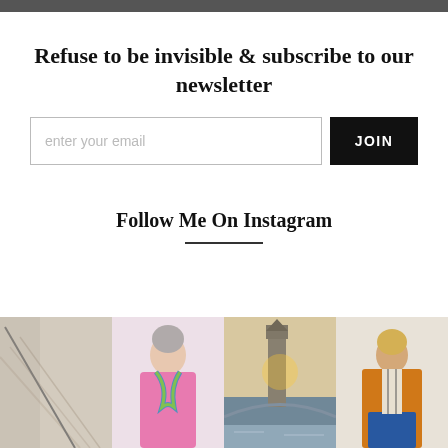Refuse to be invisible & subscribe to our newsletter
enter your email
JOIN
Follow Me On Instagram
[Figure (photo): Four Instagram photos: staircase with handrail, woman in pink shirt with scarf, Big Ben and Westminster at sunset, woman in orange cardigan and blue skirt]
[Figure (photo): Top dark bar / header image]